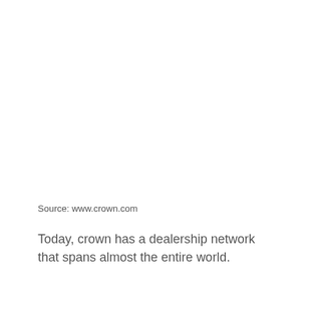Source: www.crown.com
Today, crown has a dealership network that spans almost the entire world.